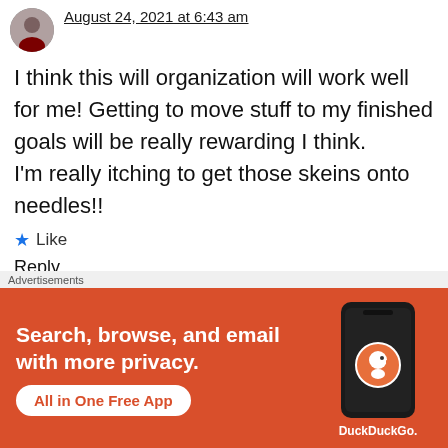August 24, 2021 at 6:43 am
I think this will organization will work well for me! Getting to move stuff to my finished goals will be really rewarding I think.
I'm really itching to get those skeins onto needles!!
Like
Reply
Advertisements
[Figure (infographic): DuckDuckGo advertisement banner with orange background. Text: 'Search, browse, and email with more privacy. All in One Free App'. Shows a smartphone with DuckDuckGo logo and branding.]